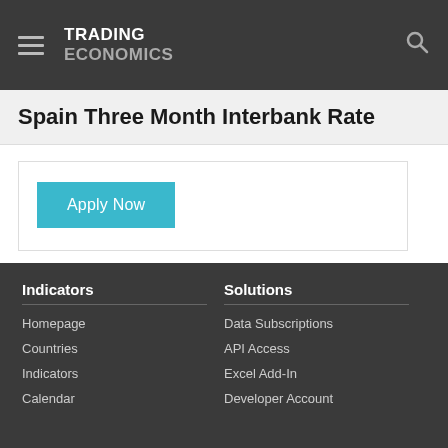TRADING ECONOMICS
Spain Three Month Interbank Rate
Apply Now
Indicators | Homepage | Countries | Indicators | Calendar | Solutions | Data Subscriptions | API Access | Excel Add-In | Developer Account